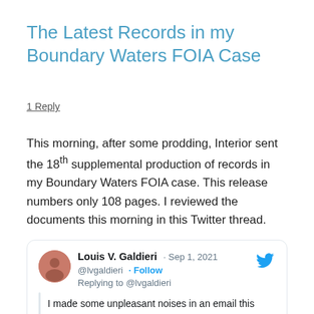The Latest Records in my Boundary Waters FOIA Case
1 Reply
This morning, after some prodding, Interior sent the 18th supplemental production of records in my Boundary Waters FOIA case. This release numbers only 108 pages. I reviewed the documents this morning in this Twitter thread.
[Figure (screenshot): Embedded tweet by Louis V. Galdieri (@lvgaldieri) dated Sep 1, 2021. Replying to @lvgaldieri. Tweet text: 'I made some unpleasant noises in an email this morning and -- voila -- the 18th supplemental production of documents in my Boundary Waters FOIA suit v. Dept of Interior.']